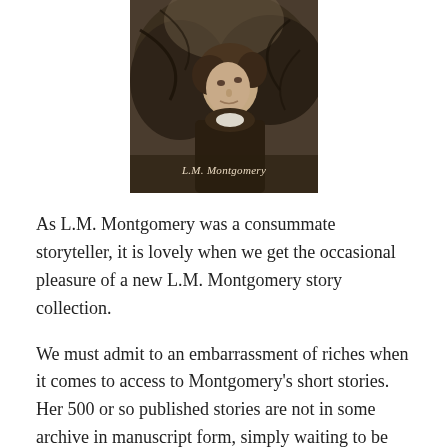[Figure (photo): Photograph of L.M. Montgomery, a woman looking upward with trees in the background, with the text 'L.M. Montgomery' overlaid at the bottom of the image.]
As L.M. Montgomery was a consummate storyteller, it is lovely when we get the occasional pleasure of a new L.M. Montgomery story collection.
We must admit to an embarrassment of riches when it comes to access to Montgomery's short stories. Her 500 or so published stories are not in some archive in manuscript form, simply waiting to be published. Montgomery's work is scattered among dozens of magazines and periodicals over a period of 50 years. Thus, our short-story richness has come with the time and